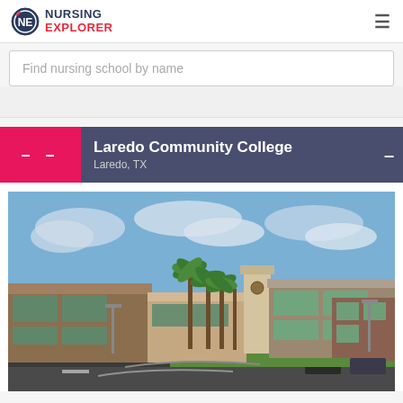NURSING EXPLORER
Find nursing school by name
Laredo Community College
Laredo, TX
[Figure (photo): Campus photo of Laredo Community College showing modern brick and glass buildings with palm trees and a clock tower under a partly cloudy sky]